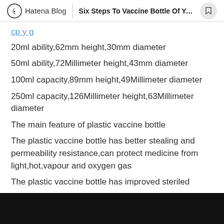Hatena Blog | Six Steps To Vaccine Bottle Of Your...
20ml ability,62mm height,30mm diameter
50ml ability,72Millimeter height,43mm diameter
100ml capacity,89mm height,49Millimeter diameter
250ml capacity,126Millimeter height,63Millimeter diameter
The main feature of plastic vaccine bottle
The plastic vaccine bottle has better stealing and permeability resistance,can protect medicine from light,hot,vapour and oxygen gas
The plastic vaccine bottle has improved steriled
The plastic sheeting bottle has multiple sizes,so the plastic sheeting jar can be suitable for pharmaceutical